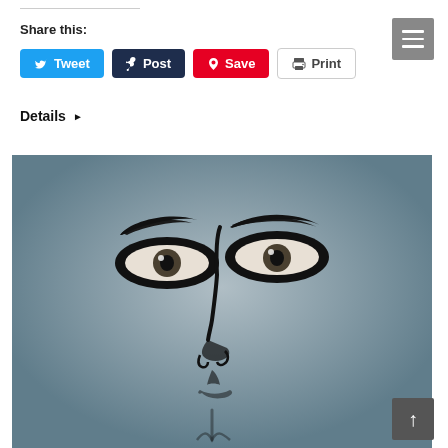Share this:
Tweet | Post | Save | Print
Details ▶
[Figure (illustration): Black and white line-art illustration of a human face (eyes, nose, mouth) on a grey gradient background. Close-up view showing intense eyes with heavy brows, a straight nose, and the beginning of lips.]